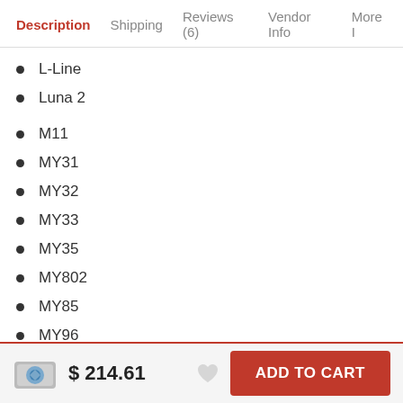Description  Shipping  Reviews (6)  Vendor Info  More Info
L-Line
Luna 2
M11
MY31
MY32
MY33
MY35
MY802
MY85
MY96
$ 214.61  ADD TO CART